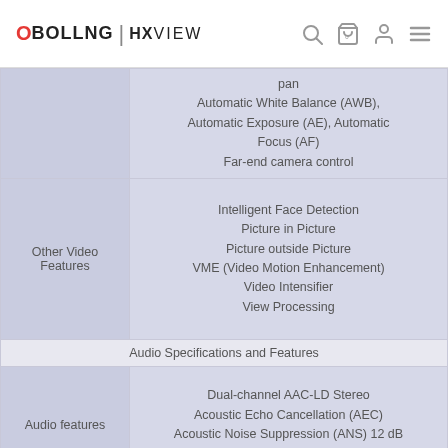BOLLNG | HXVIEW
| Feature | Details |
| --- | --- |
|  | pan
Automatic White Balance (AWB), Automatic Exposure (AE), Automatic Focus (AF)
Far-end camera control |
| Other Video Features | Intelligent Face Detection
Picture in Picture
Picture outside Picture
VME (Video Motion Enhancement)
Video Intensifier
View Processing |
| Audio Specifications and Features |  |
| Audio features | Dual-channel AAC-LD Stereo
Acoustic Echo Cancellation (AEC)
Acoustic Noise Suppression (ANS) 12 dB
Automatic Gain Control (AGC) ±6 dB |